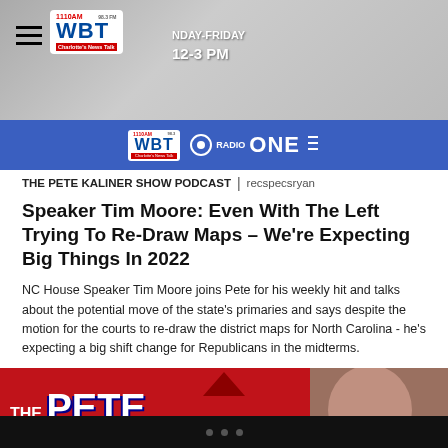[Figure (screenshot): WBT 1110AM radio station header banner with show branding, Monday-Friday 12-3 PM]
[Figure (logo): Blue band with WBT and Radio ONE logos]
THE PETE KALINER SHOW PODCAST | recspecsryan
Speaker Tim Moore: Even With The Left Trying To Re-Draw Maps – We're Expecting Big Things In 2022
NC House Speaker Tim Moore joins Pete for his weekly hit and talks about the potential move of the state's primaries and says despite the motion for the courts to re-draw the district maps for North Carolina - he's expecting a big shift change for Republicans in the midterms.
[Figure (photo): The Pete Kaliner show podcast promotional image with red background and host photo]